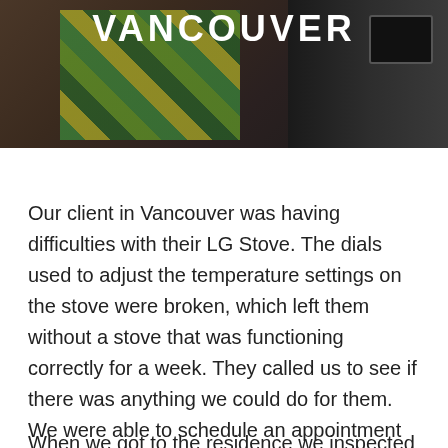[Figure (photo): Photo banner showing a kitchen scene with colorful patterned item and a dark appliance on the right, with the word VANCOUVER overlaid in large white bold text at the top center.]
Our client in Vancouver was having difficulties with their LG Stove. The dials used to adjust the temperature settings on the stove were broken, which left them without a stove that was functioning correctly for a week. They called us to see if there was anything we could do for them. We were able to schedule an appointment for them within half an hour of calling!
When we got to the residence we inspected the